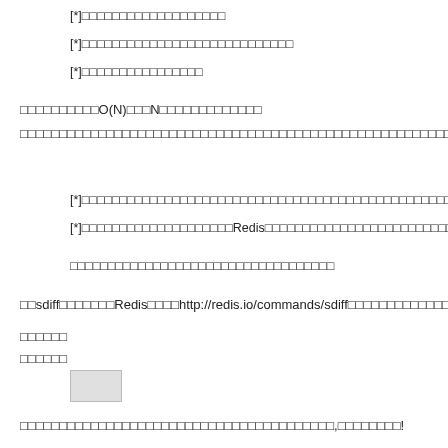[*]□□□□□□□□□□□□□□□□□□□
[*]□□□□□□□□□□□□□□□□□□□□□□□□□□□□
[*]□□□□□□□□□□□□□□□□
□□□□□□□□□□O(N)□□□N□□□□□□□□□□□□□
□□□□□□□□□□□□□□□□□□□□□□□□□□□□□□□□□□□□□□□□□□□□□□□□□□□□□□□□□□□□□□□□□□□□□□□□□□□□□□□□□□□□□□□
[*]□□□□□□□□□□□□□□□□□□□□□□□□□□□□□□□□□□□□□□□□□□□□□□□□□□□
[*]□□□□□□□□□□□□□□□□□□□□Redis□□□□□□□□□□□□□□□□□□□□□□□□□□□□□□□□□□□□□□□□□□□□□
□□□□□□□□□□□□□□□□□□□□□□□□□□□□□□□□□□□
□□sdiff□□□□□□□Redis□□□□http://redis.io/commands/sdiff□□□□□□□□□□□□□□□□□□□□□
□□□□□□
□□□□□□
[Figure (screenshot): A small gray/light colored code or image box]
□□□□□□□□□□□□□□□□□□□□□□□□□□□□□□□□□□□□□□□□,□□□□□□□□!